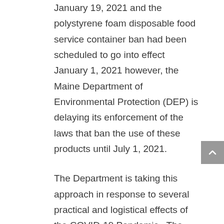January 19, 2021 and the polystyrene foam disposable food service container ban had been scheduled to go into effect January 1, 2021 however, the Maine Department of Environmental Protection (DEP) is delaying its enforcement of the laws that ban the use of these products until July 1, 2021.
The Department is taking this approach in response to several practical and logistical effects of the COVID-19 Pandemic.  The COVID-19 worldwide pandemic has disrupted traditional food marketing and packaging supplies.  Demand for groceries, “curbside pickup,” and takeout food has increased, while the demand for paper bags and thicker